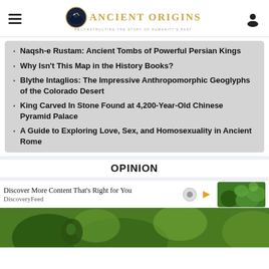Ancient Origins – Reconstructing the Story of Humanity's Past
Naqsh-e Rustam: Ancient Tombs of Powerful Persian Kings
Why Isn't This Map in the History Books?
Blythe Intaglios: The Impressive Anthropomorphic Geoglyphs of the Colorado Desert
King Carved In Stone Found at 4,200-Year-Old Chinese Pyramid Palace
A Guide to Exploring Love, Sex, and Homosexuality in Ancient Rome
OPINION
Discover More Content That's Right for You
DiscoveryFeed
[Figure (photo): Decorative nature/fantasy image with green foliage and landscape elements, used as advertisement visual and page bottom image]